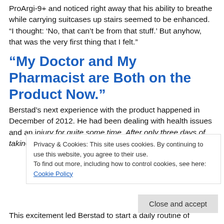ProArgi-9+ and noticed right away that his ability to breathe while carrying suitcases up stairs seemed to be enhanced. “I thought: ‘No, that can’t be from that stuff.’ But anyhow, that was the very first thing that I felt.”
“My Doctor and My Pharmacist are Both on the Product Now.”
Berstad’s next experience with the product happened in December of 2012. He had been dealing with health issues and an injury for quite some time. After only three days of taking
This excitement led Berstad to start a daily routine of
Privacy & Cookies: This site uses cookies. By continuing to use this website, you agree to their use.
To find out more, including how to control cookies, see here: Cookie Policy
Close and accept